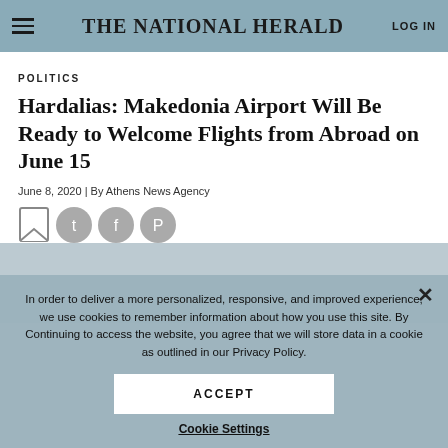THE NATIONAL HERALD
POLITICS
Hardalias: Makedonia Airport Will Be Ready to Welcome Flights from Abroad on June 15
June 8, 2020 | By Athens News Agency
In order to deliver a more personalized, responsive, and improved experience, we use cookies to remember information about how you use this site. By Continuing to access the website, you agree that we will store data in a cookie as outlined in our Privacy Policy.
ACCEPT
Cookie Settings